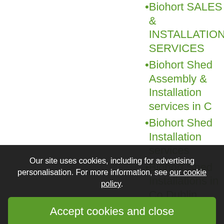Biohort SALES & INSTALLATION SERVICES
Biohort Shed Assembly & Installation services in C
Biohort Shed Installation services
Biohort Shed Installations in Co Dublin
Assembly & Installation
Biohort Sheds in Athlone
Our site uses cookies, including for advertising personalisation. For more information, see our cookie policy.
Accept cookies and close
Reject cookies
Manage settings